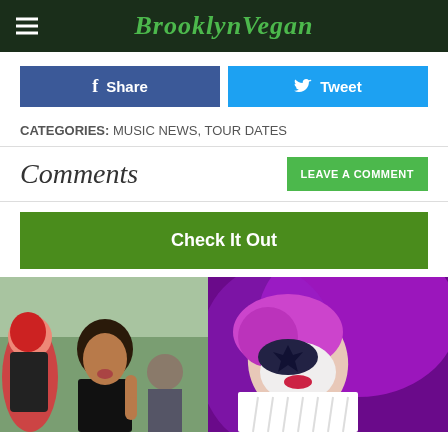BrooklynVegan
Share
Tweet
CATEGORIES: MUSIC NEWS, TOUR DATES
Comments
LEAVE A COMMENT
Check It Out
[Figure (photo): Two women at an outdoor music festival, one with red hair in costume, one with dark hair making a hand gesture. Right side shows a performer with face paint in purple lighting.]